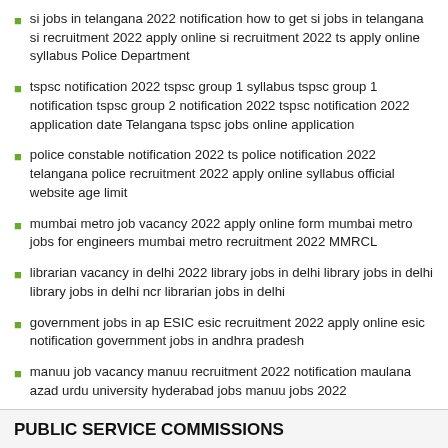si jobs in telangana 2022 notification how to get si jobs in telangana si recruitment 2022 apply online si recruitment 2022 ts apply online syllabus Police Department
tspsc notification 2022 tspsc group 1 syllabus tspsc group 1 notification tspsc group 2 notification 2022 tspsc notification 2022 application date Telangana tspsc jobs online application
police constable notification 2022 ts police notification 2022 telangana police recruitment 2022 apply online syllabus official website age limit
mumbai metro job vacancy 2022 apply online form mumbai metro jobs for engineers mumbai metro recruitment 2022 MMRCL
librarian vacancy in delhi 2022 library jobs in delhi library jobs in delhi library jobs in delhi ncr librarian jobs in delhi
government jobs in ap ESIC esic recruitment 2022 apply online esic notification government jobs in andhra pradesh
manuu job vacancy manuu recruitment 2022 notification maulana azad urdu university hyderabad jobs manuu jobs 2022
Govt Jobs in AP NID Recruitment Jobs in Andhra Pradesh Guntur
PUBLIC SERVICE COMMISSIONS